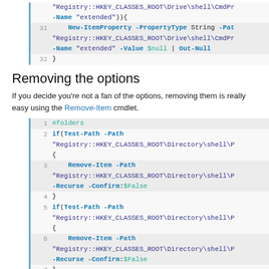[Figure (screenshot): Code block lines 31-32 showing New-ItemProperty PowerShell command with registry path for Drive shell CmdPrompt, setting Name 'extended' and Value $null piped to Out-Null, followed by closing brace.]
Removing the options
If you decide you're not a fan of the options, removing them is really easy using the Remove-Item cmdlet.
[Figure (screenshot): Code block lines 1-8 showing PowerShell script with #folders comment, if(Test-Path) checks for Registry HKEY_CLASSES_ROOT Directory shell paths, Remove-Item commands with -Recurse -Confirm:$False, closing braces, repeated pattern for multiple registry paths.]